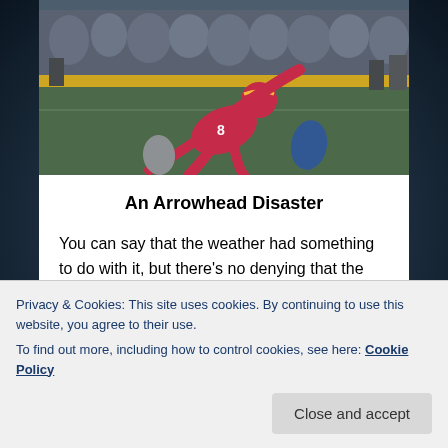[Figure (photo): Football action photo showing a Kansas City Chiefs player in red uniform (number 8) diving or being tackled on the field, with crowd in background]
An Arrowhead Disaster
You can say that the weather had something to do with it, but there's no denying that the Kansas City Chiefs are headed in the wrong direction. The Buffalo Bills are not pushovers by any stretch of the imagination. They came into Arrowhead looking to prove that they are legit contenders in the AFC and were a victory away from the Super Bowl to...
Privacy & Cookies: This site uses cookies. By continuing to use this website, you agree to their use.
To find out more, including how to control cookies, see here: Cookie Policy
Close and accept